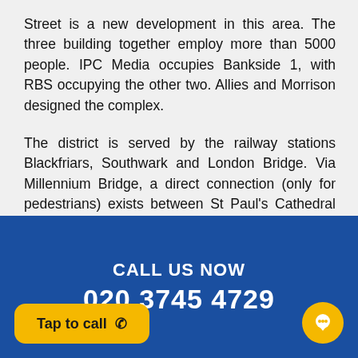Street is a new development in this area. The three building together employ more than 5000 people. IPC Media occupies Bankside 1, with RBS occupying the other two. Allies and Morrison designed the complex.
The district is served by the railway stations Blackfriars, Southwark and London Bridge. Via Millennium Bridge, a direct connection (only for pedestrians) exists between St Paul's Cathedral and Tate Modern.
CALL US NOW
020 3745 4729
Tap to call